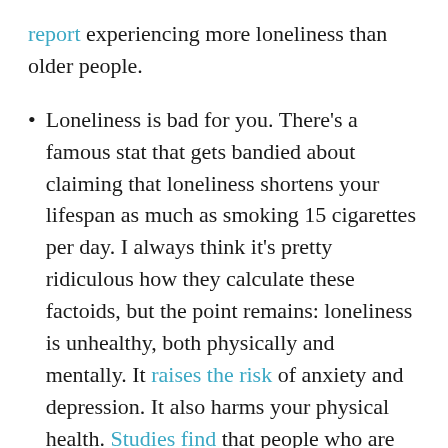report experiencing more loneliness than older people.
Loneliness is bad for you. There's a famous stat that gets bandied about claiming that loneliness shortens your lifespan as much as smoking 15 cigarettes per day. I always think it's pretty ridiculous how they calculate these factoids, but the point remains: loneliness is unhealthy, both physically and mentally. It raises the risk of anxiety and depression. It also harms your physical health. Studies find that people who are lonely experience more heart